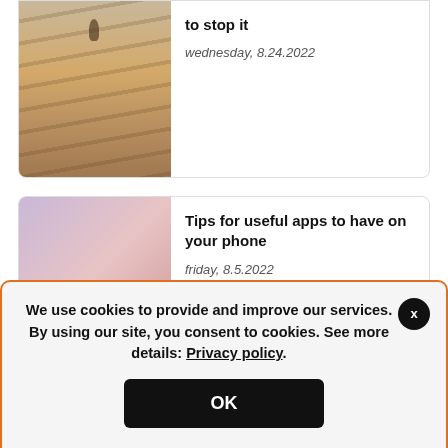[Figure (photo): Beach with footprints in sand, person silhouette in distance]
to stop it
wednesday, 8.24.2022
[Figure (photo): Two women/girls embracing, one appearing to be a mother and child in pink/purple tones]
Tips for useful apps to have on your phone
friday, 8.5.2022
+ more news
We use cookies to provide and improve our services. By using our site, you consent to cookies. See more details: Privacy policy.